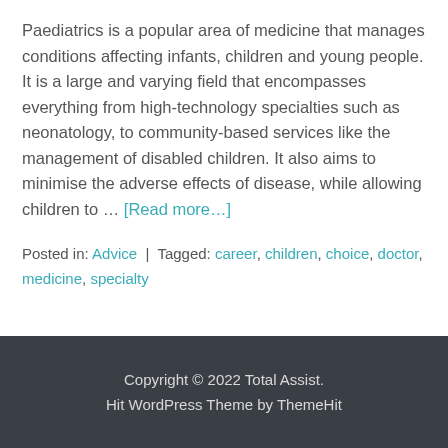Paediatrics is a popular area of medicine that manages conditions affecting infants, children and young people. It is a large and varying field that encompasses everything from high-technology specialties such as neonatology, to community-based services like the management of disabled children. It also aims to minimise the adverse effects of disease, while allowing children to … [Read more…]
Posted in: Advice | Tagged: career, children, choice, doctor, medicine, specialty
Copyright © 2022 Total Assist. Hit WordPress Theme by ThemeHit